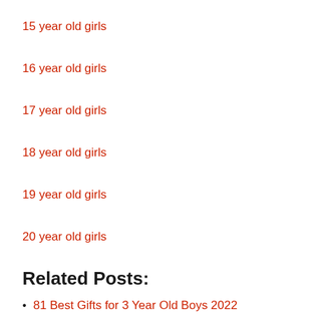15 year old girls
16 year old girls
17 year old girls
18 year old girls
19 year old girls
20 year old girls
Related Posts:
81 Best Gifts for 3 Year Old Boys 2022